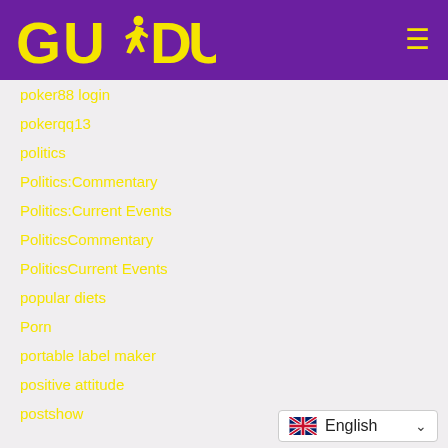GUDU (logo with running figure)
poker88 login
pokerqq13
politics
Politics:Commentary
Politics:Current Events
PoliticsCommentary
PoliticsCurrent Events
popular diets
Porn
portable label maker
positive attitude
postshow
[Figure (other): Language selector widget showing UK flag and 'English' text with dropdown arrow]